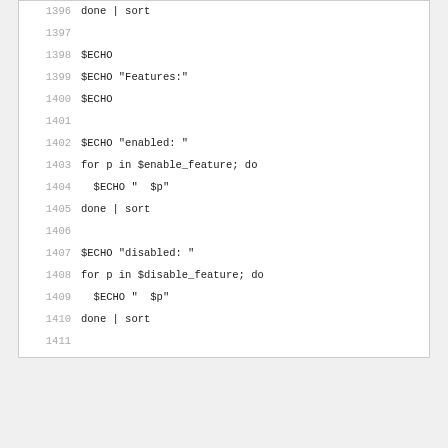Code listing lines 1396-1413: shell script snippet showing ECHO commands and for loops for feature listing